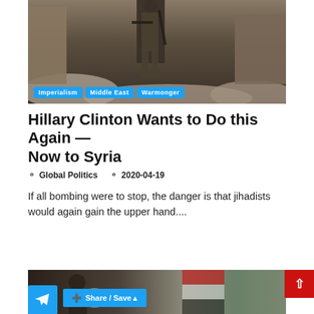[Figure (photo): Soldier walking through rubble in war-torn city, with tags Imperialism, Middle East, Warmonger overlaid at bottom]
Hillary Clinton Wants to Do this Again — Now to Syria
Global Politics   2020-04-19
If all bombing were to stop, the danger is that jihadists would again gain the upper hand....
CONTINUE READING
[Figure (photo): Partial bottom image showing person with instrument and Syrian flag]